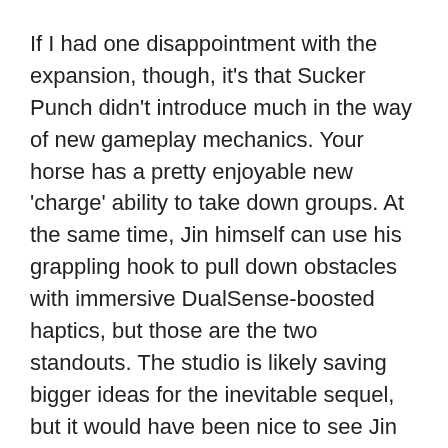If I had one disappointment with the expansion, though, it's that Sucker Punch didn't introduce much in the way of new gameplay mechanics. Your horse has a pretty enjoyable new 'charge' ability to take down groups. At the same time, Jin himself can use his grappling hook to pull down obstacles with immersive DualSense-boosted haptics, but those are the two standouts. The studio is likely saving bigger ideas for the inevitable sequel, but it would have been nice to see Jin have at least a few more new tricks up his sleeve. That said, the breadth of new content, including an entirely separate explorable island, makes this a minor issue at best.
Because ultimately, as I said, Ghost of Tsushima Director's Cut came at the perfect time for me.